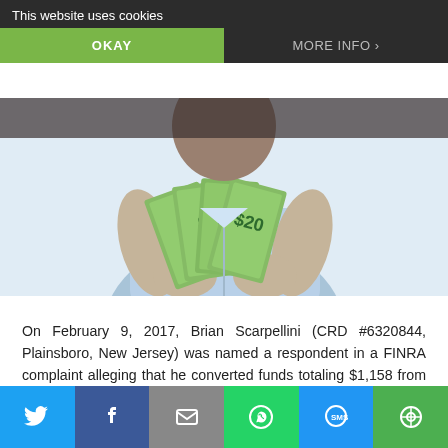This website uses cookies
OKAY
MORE INFO
[Figure (photo): Man in light blue shirt holding up a fan of US dollar bills in front of his face]
On February 9, 2017, Brian Scarpellini (CRD #6320844, Plainsboro, New Jersey) was named a respondent in a FINRA complaint alleging that he converted funds totaling $1,158 from his member firm’s bank affiliate by engaging in a check-kiting scheme.
The complaint alleges that Brian Scarpellini wrote checks
Twitter | Facebook | Email | WhatsApp | SMS | Share